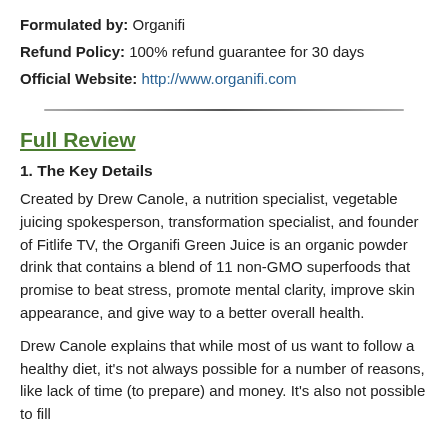Formulated by: Organifi
Refund Policy: 100% refund guarantee for 30 days
Official Website: http://www.organifi.com
Full Review
1. The Key Details
Created by Drew Canole, a nutrition specialist, vegetable juicing spokesperson, transformation specialist, and founder of Fitlife TV, the Organifi Green Juice is an organic powder drink that contains a blend of 11 non-GMO superfoods that promise to beat stress, promote mental clarity, improve skin appearance, and give way to a better overall health.
Drew Canole explains that while most of us want to follow a healthy diet, it's not always possible for a number of reasons, like lack of time (to prepare) and money. It's also not possible to fill